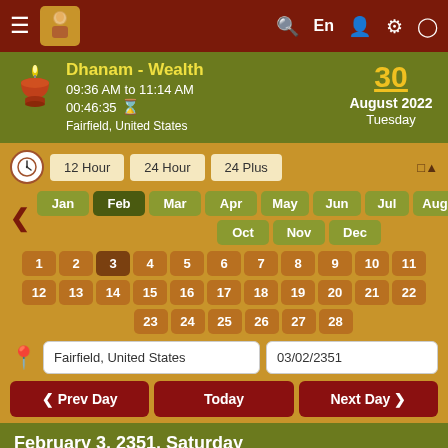≡ [logo] Q En [person] [settings] [clock]
Dhanam - Wealth | 09:36 AM to 11:14 AM | 00:46:35 | Fairfield, United States | 30 August 2022 Tuesday
12 Hour  24 Hour  24 Plus
Jan Feb Mar Apr May Jun Jul Aug Sep Oct Nov Dec
1 2 3 4 5 6 7 8 9 10 11 12 13 14 15 16 17 18 19 20 21 22 23 24 25 26 27 28
Fairfield, United States | 03/02/2351
< Prev Day  Today  Next Day >
February 3, 2351, Saturday